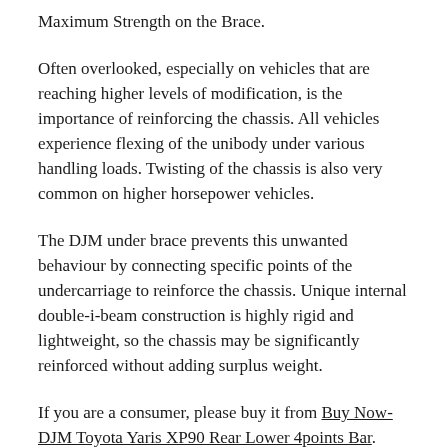Maximum Strength on the Brace.
Often overlooked, especially on vehicles that are reaching higher levels of modification, is the importance of reinforcing the chassis. All vehicles experience flexing of the unibody under various handling loads. Twisting of the chassis is also very common on higher horsepower vehicles.
The DJM under brace prevents this unwanted behaviour by connecting specific points of the undercarriage to reinforce the chassis. Unique internal double-i-beam construction is highly rigid and lightweight, so the chassis may be significantly reinforced without adding surplus weight.
If you are a consumer, please buy it from Buy Now-DJM Toyota Yaris XP90 Rear Lower 4points Bar.